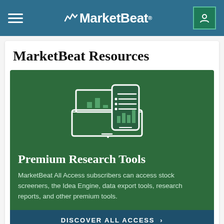MarketBeat
MarketBeat Resources
[Figure (illustration): Icon of a laptop and smartphone displaying bar charts and list data, rendered in white outlines on a dark green background]
Premium Research Tools
MarketBeat All Access subscribers can access stock screeners, the Idea Engine, data export tools, research reports, and other premium tools.
DISCOVER ALL ACCESS >